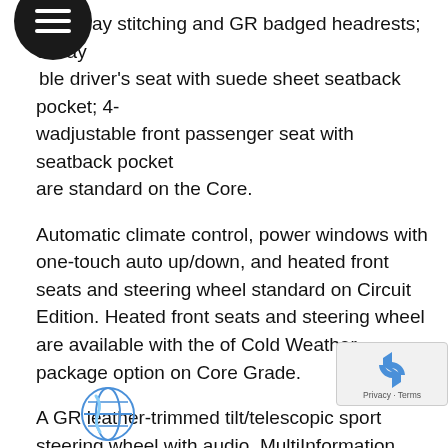with gray stitching and GR badged headrests; 8-way adjustable driver's seat with suede sheet seatback pocket; 4-way adjustable front passenger seat with seatback pocket are standard on the Core.
Automatic climate control, power windows with one-touch auto up/down, and heated front seats and steering wheel standard on Circuit Edition. Heated front seats and steering wheel are available with the of Cold Weather package option on Core Grade.
A GR leather-trimmed tilt/telescopic sport steering wheel with audio, MultiInformation Display, Bluetooth® hands-free phone and voice-command controls comes standard on the Circuit Edition. For an added touch, a “Morizo” signed shift knob comes exclusively on the launch year Circuit Edition.
Standard on both grades is a push button GR engine start/stop button, aluminum sport pedals, two USB charging